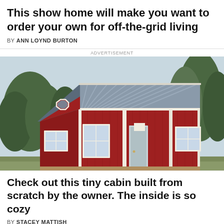This show home will make you want to order your own for off-the-grid living
BY ANN LOYND BURTON
ADVERTISEMENT
[Figure (photo): A red barn-style tiny home with white trim, metal roof, two windows on the front, a central door with an arched window above it, and a covered porch area. Trees visible in background.]
Check out this tiny cabin built from scratch by the owner. The inside is so cozy
BY STACEY MATTISH